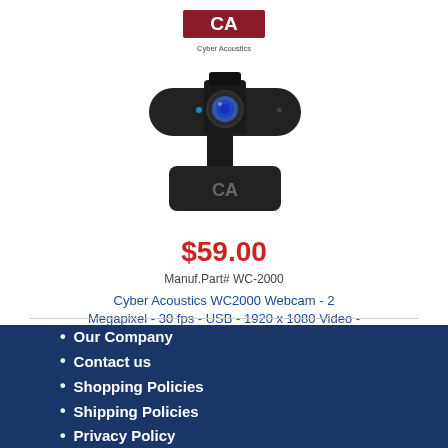[Figure (logo): Cyber Acoustics logo with red CA icon and text below]
[Figure (photo): Black Cyber Acoustics WC2000 webcam product photo with CA branding on the stand]
$59.00
Manuf.Part# WC-2000
Cyber Acoustics WC2000 Webcam - 2 Megapixel - 30 fps - USB - 1920 x 1080 Video - CMOS Sensor - Auto-focus - Mi...
Our Company
Contact us
Shopping Policies
Shipping Policies
Privacy Policy